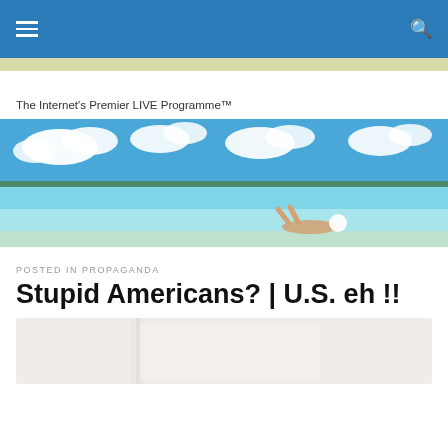≡  🔍
The Internet's Premier LIVE Programme™
[Figure (photo): Wide panoramic photo of a tropical beach with clear turquoise water, white sandy bottom, green distant shore, blue sky with fluffy white clouds, and a person in a white hat lying in the shallow water.]
POSTED IN PROPAGANDA
Stupid Americans? | U.S. eh !!
[Figure (photo): Partial view of a book or document with white and gray tones, partially cropped at bottom of page.]